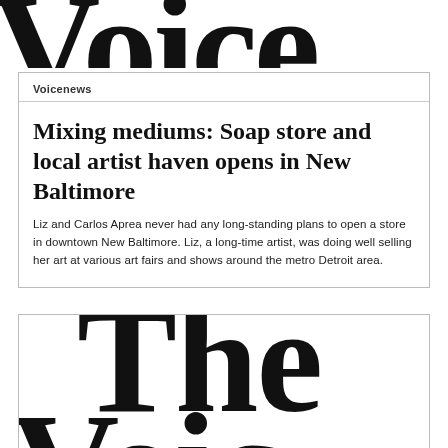[Figure (other): Partial large newspaper masthead logo text cropped at top of page]
Voicenews
Mixing mediums: Soap store and local artist haven opens in New Baltimore
Liz and Carlos Aprea never had any long-standing plans to open a store in downtown New Baltimore. Liz, a long-time artist, was doing well selling her art at various art fairs and shows around the metro Detroit area.
[Figure (other): Partial large newspaper masthead logo text reading 'The Voic...' cropped at bottom of page]